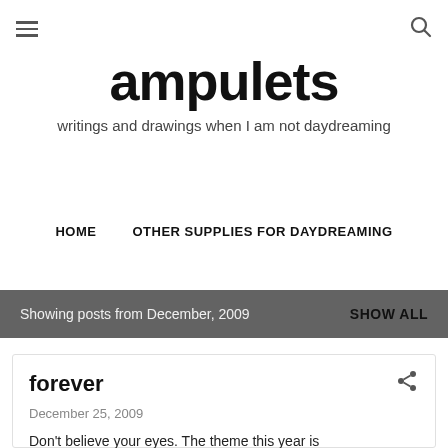≡  🔍
ampulets
writings and drawings when I am not daydreaming
HOME    OTHER SUPPLIES FOR DAYDREAMING
Showing posts from December, 2009   SHOW ALL
forever
December 25, 2009
Don't believe your eyes. The theme this year is